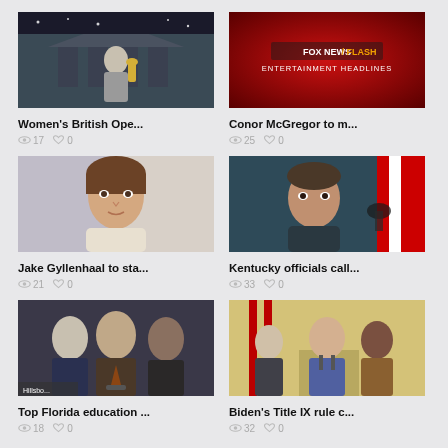[Figure (photo): Woman golfer holding trophy in front of a building at night]
Women's British Ope...
👁 17  ♥ 0
[Figure (screenshot): Fox News Flash Entertainment Headlines red background screen]
Conor McGregor to m...
👁 25  ♥ 0
[Figure (photo): Jake Gyllenhaal portrait photo]
Jake Gyllenhaal to sta...
👁 21  ♥ 0
[Figure (photo): Kentucky official in dark jacket with American flag in background]
Kentucky officials call...
👁 33  ♥ 0
[Figure (photo): Three men in suits at a press conference, Florida education officials]
Top Florida education ...
👁 18  ♥ 0
[Figure (photo): Biden at podium with officials, Title IX rule signing]
Biden's Title IX rule c...
👁 32  ♥ 0